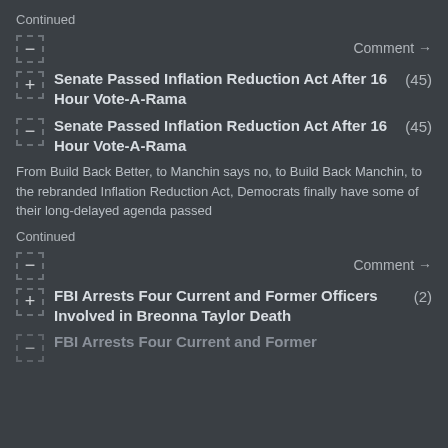Continued
Comment →
Senate Passed Inflation Reduction Act After 16 Hour Vote-A-Rama (45)
Senate Passed Inflation Reduction Act After 16 Hour Vote-A-Rama (45)
From Build Back Better, to Manchin says no, to Build Back Manchin, to the rebranded Inflation Reduction Act, Democrats finally have some of their long-delayed agenda passed
Continued
Comment →
FBI Arrests Four Current and Former Officers Involved in Breonna Taylor Death (2)
FBI Arrests Four Current and Former Officers...